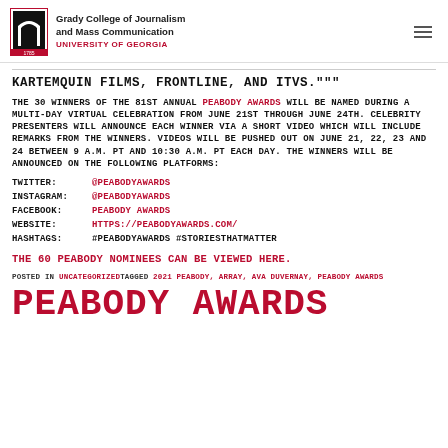Grady College of Journalism and Mass Communication UNIVERSITY OF GEORGIA
KARTEMQUIN FILMS, FRONTLINE, AND ITVS."""
THE 30 WINNERS OF THE 81ST ANNUAL PEABODY AWARDS WILL BE NAMED DURING A MULTI-DAY VIRTUAL CELEBRATION FROM JUNE 21ST THROUGH JUNE 24TH. CELEBRITY PRESENTERS WILL ANNOUNCE EACH WINNER VIA A SHORT VIDEO WHICH WILL INCLUDE REMARKS FROM THE WINNERS. VIDEOS WILL BE PUSHED OUT ON JUNE 21, 22, 23 AND 24 BETWEEN 9 A.M. PT AND 10:30 A.M. PT EACH DAY. THE WINNERS WILL BE ANNOUNCED ON THE FOLLOWING PLATFORMS:
TWITTER: @PEABODYAWARDS
INSTAGRAM: @PEABODYAWARDS
FACEBOOK: PEABODY AWARDS
WEBSITE: HTTPS://PEABODYAWARDS.COM/
HASHTAGS: #PEABODYAWARDS #STORIESTHATMATTER
THE 60 PEABODY NOMINEES CAN BE VIEWED HERE.
POSTED IN UNCATEGORIZED TAGGED 2021 PEABODY, ARRAY, AVA DUVERNAY, PEABODY AWARDS
PEABODY AWARDS